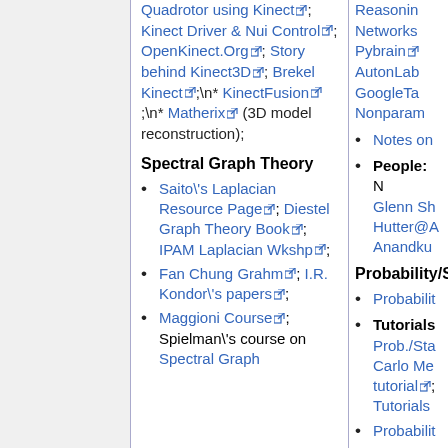Quadrotor using Kinect; Kinect Driver & Nui Control; OpenKinect.Org; Story behind Kinect3D; Brekel Kinect;\n* KinectFusion;\n* Matherix (3D model reconstruction);
Spectral Graph Theory
Saito\'s Laplacian Resource Page; Diestel Graph Theory Book; IPAM Laplacian Wkshp;
Fan Chung Grahm; I.R. Kondor\'s papers;
Maggioni Course; Spielman\'s course on Spectral Graph
Reasoning Networks; Pybrain; AutonLab; GoogleTa; Nonparam
Notes on
People: N Glenn Sh Hutter@A Anandku
Probability/S
Probabilit
Tutorials Prob./Sta Carlo Me tutorial; Tutorials
Probabilit